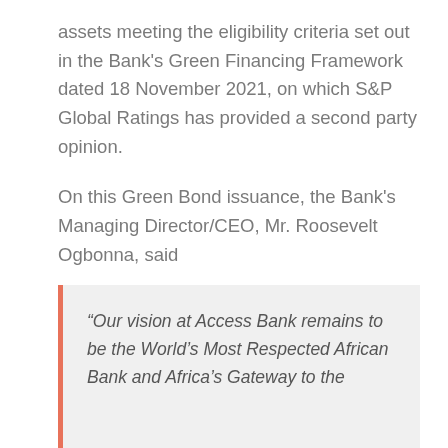assets meeting the eligibility criteria set out in the Bank's Green Financing Framework dated 18 November 2021, on which S&P Global Ratings has provided a second party opinion.
On this Green Bond issuance, the Bank's Managing Director/CEO, Mr. Roosevelt Ogbonna, said
“Our vision at Access Bank remains to be the World’s Most Respected African Bank and Africa’s Gateway to the